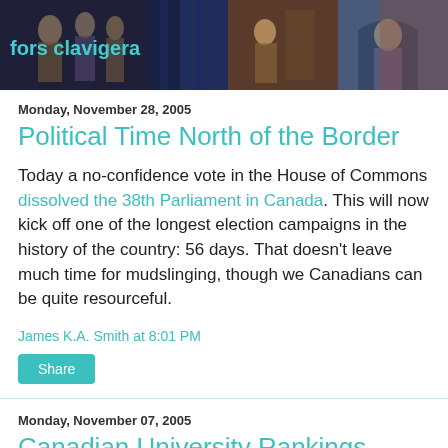[Figure (illustration): Blog header banner with medieval/pre-Raphaelite artwork showing figures in robes against colorful background. Blog title 'fors clavigera' displayed in teal text on left side of banner.]
Monday, November 28, 2005
Political Time North of the Border
Today a no-confidence vote in the House of Commons dissolved the 38th Parliament in Canada. This will now kick off one of the longest election campaigns in the history of the country: 56 days. That doesn't leave much time for mudslinging, though we Canadians can be quite resourceful.
James K.A. Smith at 8:01 PM
Share
Monday, November 07, 2005
Canadian University Rankings